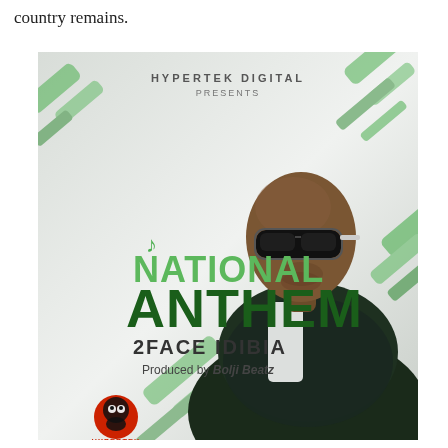country remains.
[Figure (illustration): Music single cover art for '2Face Idibia - National Anthem'. White/light grey background with green diagonal stripe decorations. Shows a bald man wearing dark sunglasses and a dark sparkling blazer. Text overlay reads: HYPERTEK DIGITAL PRESENTS | (music note icon) NATIONAL ANTHEM | 2FACE IDIBIA | Produced by Bolji Beatz. Hypertek Digital logo (stylized face icon) at bottom left.]